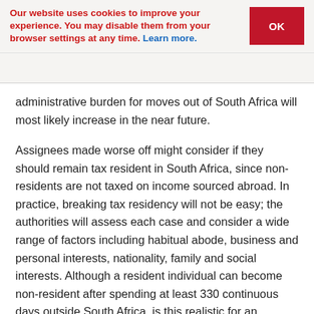Our website uses cookies to improve your experience. You may disable them from your browser settings at any time. Learn more. [OK button]
administrative burden for moves out of South Africa will most likely increase in the near future.
Assignees made worse off might consider if they should remain tax resident in South Africa, since non-residents are not taxed on income sourced abroad. In practice, breaking tax residency will not be easy; the authorities will assess each case and consider a wide range of factors including habitual abode, business and personal interests, nationality, family and social interests. Although a resident individual can become non-resident after spending at least 330 continuous days outside South Africa, is this realistic for an individual on a temporary assignment? Would even a permanent transfer lead to residency being broken if personal interests remain in the country? These questions will all